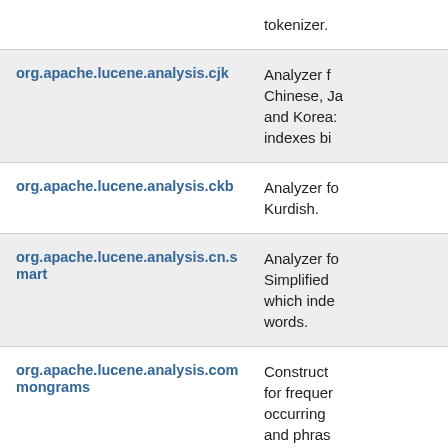| Package | Description |
| --- | --- |
|  | tokenizer. |
| org.apache.lucene.analysis.cjk | Analyzer for Chinese, Japanese and Korean. indexes bi... |
| org.apache.lucene.analysis.ckb | Analyzer for Kurdish. |
| org.apache.lucene.analysis.cn.smart | Analyzer for Simplified Chinese which indexes words. |
| org.apache.lucene.analysis.commongrams | Constructs for frequently occurring and phrases... |
| org.apache.lucene.analysis.compound | A filter that decomposes compound you find in... |